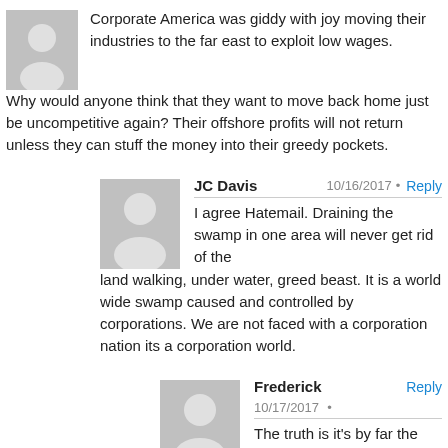Corporate America was giddy with joy moving their industries to the far east to exploit low wages. Why would anyone think that they want to move back home just be uncompetitive again? Their offshore profits will not return unless they can stuff the money into their greedy pockets.
JC Davis  10/16/2017 • Reply
I agree Hatemail. Draining the swamp in one area will never get rid of the land walking, under water, greed beast. It is a world wide swamp caused and controlled by corporations. We are not faced with a corporation nation its a corporation world.
Frederick  Reply  10/17/2017 •
The truth is it's by far the worst in the